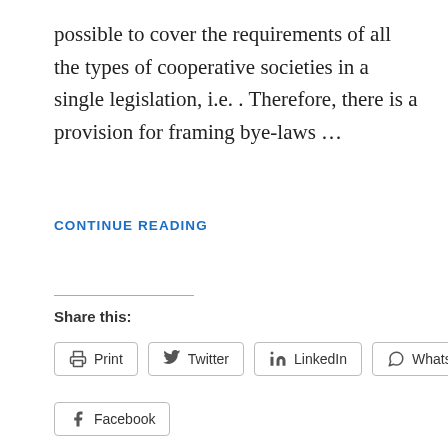possible to cover the requirements of all the types of cooperative societies in a single legislation, i.e. . Therefore, there is a provision for framing bye-laws …
CONTINUE READING
Share this:
Print  Twitter  LinkedIn  WhatsApp  Facebook